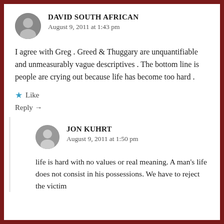DAVID SOUTH AFRICAN
August 9, 2011 at 1:43 pm
I agree with Greg . Greed & Thuggary are unquantifiable and unmeasurably vague descriptives . The bottom line is people are crying out because life has become too hard .
Like
Reply →
JON KUHRT
August 9, 2011 at 1:50 pm
life is hard with no values or real meaning. A man's life does not consist in his possessions. We have to reject the victim